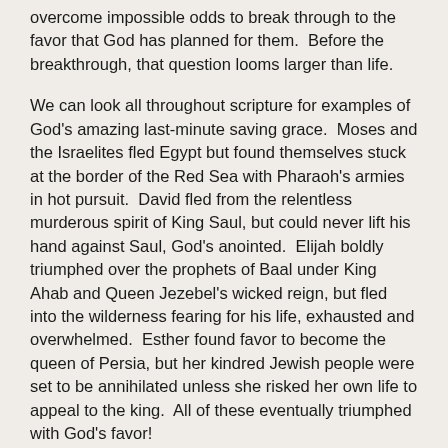overcome impossible odds to break through to the favor that God has planned for them.  Before the breakthrough, that question looms larger than life.
We can look all throughout scripture for examples of God's amazing last-minute saving grace.  Moses and the Israelites fled Egypt but found themselves stuck at the border of the Red Sea with Pharaoh's armies in hot pursuit.  David fled from the relentless murderous spirit of King Saul, but could never lift his hand against Saul, God's anointed.  Elijah boldly triumphed over the prophets of Baal under King Ahab and Queen Jezebel's wicked reign, but fled into the wilderness fearing for his life, exhausted and overwhelmed.  Esther found favor to become the queen of Persia, but her kindred Jewish people were set to be annihilated unless she risked her own life to appeal to the king.  All of these eventually triumphed with God's favor!